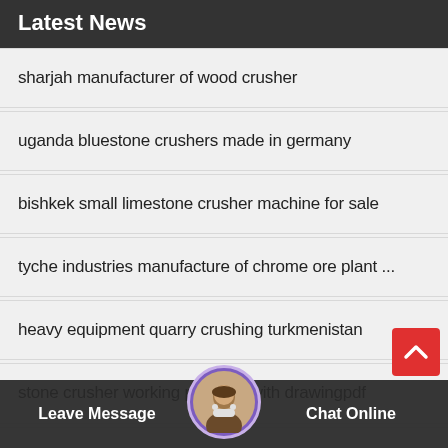Latest News
sharjah manufacturer of wood crusher
uganda bluestone crushers made in germany
bishkek small limestone crusher machine for sale
tyche industries manufacture of chrome ore plant ...
heavy equipment quarry crushing turkmenistan
stone crusher working principle with drawingpdf
small crusher machine for medium hard stone cru...
Leave Message   Chat Online